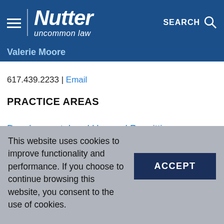Nutter — uncommon law | SEARCH
Valerie Moore
617.439.2233 | Email
PRACTICE AREAS
Development, Land Use and Permitting
Environmental, Regulatory and Compliance
Litigation
This website uses cookies to improve functionality and performance. If you choose to continue browsing this website, you consent to the use of cookies.